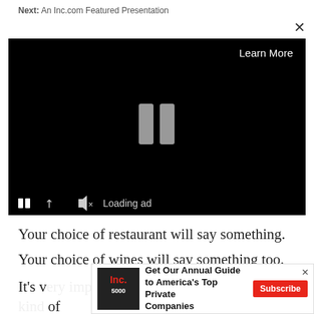Next: An Inc.com Featured Presentation
[Figure (screenshot): A video player with black background showing a pause icon in the center and video controls at the bottom including pause, expand, mute buttons and 'Loading ad' text. A 'Learn More' label appears in the top right and an X close button above.]
Your choice of restaurant will say something.
Your choice of wines will say something too.
It's v ... of
[Figure (infographic): Inc. magazine advertisement banner with magazine cover image showing '5000', headline 'Get Our Annual Guide to America's Top Private Companies', Subscribe button in red, and X close button.]